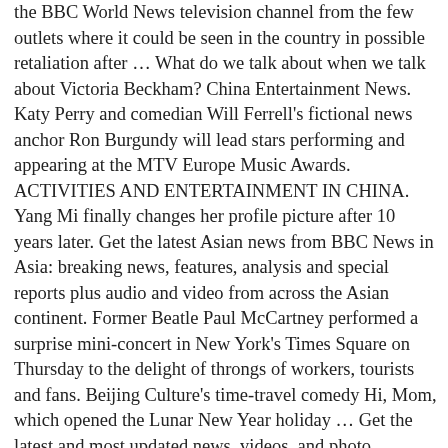the BBC World News television channel from the few outlets where it could be seen in the country in possible retaliation after … What do we talk about when we talk about Victoria Beckham? China Entertainment News. Katy Perry and comedian Will Ferrell's fictional news anchor Ron Burgundy will lead stars performing and appearing at the MTV Europe Music Awards. ACTIVITIES AND ENTERTAINMENT IN CHINA. Yang Mi finally changes her profile picture after 10 years later. Get the latest Asian news from BBC News in Asia: breaking news, features, analysis and special reports plus audio and video from across the Asian continent. Former Beatle Paul McCartney performed a surprise mini-concert in New York's Times Square on Thursday to the delight of throngs of workers, tourists and fans. Beijing Culture's time-travel comedy Hi, Mom, which opened the Lunar New Year holiday … Get the latest and most updated news, videos, and photo galleries about China celebrities. Song Weilong And His Sister Become A Hot Search Topic On Weibo. Transformer 4 to be filmed in Chongqing, Chinese actor Ge You and director Feng Xiaogang have joined hands again for another comedy during the New Year Season, "Personal Tailor. Popular … Huang Xiaoming (黄晓明) and his old love, Li Feier (李菲儿) participate in Chinese variety show, Sisters... by AEN-ADMIN | Jan 3, 2021 | China News, Drama News | 0 |. Armed Reaction 2021 drama: Derek Wong feels happy to work with Jessica Hsuan and Moses Chan. The Rebel Princess drama: Zhang Ziyi wears sports shoes in ancient costume, Chinese